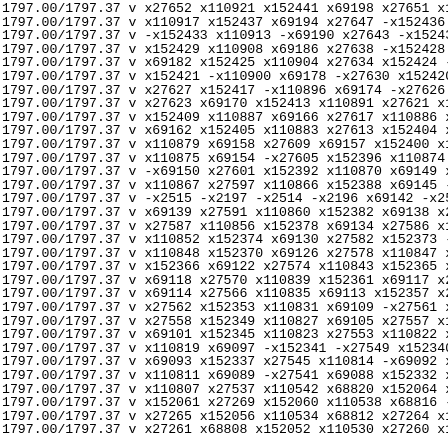1797.00/1797.37 v x27652 x110921 x152441 x69198 x27651 x11092
1797.00/1797.37 v x110917 x152437 x69194 x27647 -x152436 x110
1797.00/1797.37 v -x152433 x110913 -x69190 x27643 -x152432 x1
1797.00/1797.37 v x152429 x110908 x69186 x27638 -x152428 x110
1797.00/1797.37 v x69182 x152425 x110904 x27634 x152424 -x110
1797.00/1797.37 v x152421 -x110900 x69178 -x27630 x152420 -x1
1797.00/1797.37 v x27627 x152417 -x110896 x69174 -x27626 -x15
1797.00/1797.37 v x27623 x69170 x152413 x110891 x27621 x15241
1797.00/1797.37 v x152409 x110887 x69166 x27617 x110886 x1524
1797.00/1797.37 v x69162 x152405 x110883 x27613 x152404 x1108
1797.00/1797.37 v x110879 x69158 x27609 x69157 x152400 x11087
1797.00/1797.37 v x110875 x69154 -x27605 x152396 x110874 x691
1797.00/1797.37 v -x69150 x27601 x152392 x110870 x69149 x2760
1797.00/1797.37 v x110867 x27597 x110866 x152388 x69145 -x275
1797.00/1797.37 v -x2515 -x2197 -x2514 -x2196 x69142 -x2513 -
1797.00/1797.37 v x69139 x27591 x110860 x152382 x69138 x27590
1797.00/1797.37 v x27587 x110856 x152378 x69134 x27586 x11085
1797.00/1797.37 v x110852 x152374 x69130 x27582 x152373 -x110
1797.00/1797.37 v x110848 x152370 x69126 x27578 x110847 x1523
1797.00/1797.37 v x152366 x69122 x27574 x110843 x152365 x6912
1797.00/1797.37 v x69118 x27570 x110839 x152361 x69117 x27569
1797.00/1797.37 v x69114 x27566 x110835 x69113 x152357 x27565
1797.00/1797.37 v x27562 x152353 x110831 x69109 -x27561 x1523
1797.00/1797.37 v x27558 x152349 x110827 x69105 x27557 x11082
1797.00/1797.37 v x69101 x152345 x110823 x27553 x110822 x6910
1797.00/1797.37 v x110819 x69097 -x152341 -x27549 x152340 x11
1797.00/1797.37 v x69093 x152337 x27545 x110814 -x69092 x1523
1797.00/1797.37 v x110811 x69089 -x27541 x69088 x152332 x1108
1797.00/1797.37 v x110807 x27537 x110542 x68820 x152064 x2727
1797.00/1797.37 v x152061 x27269 x152060 x110538 x68816 -x272
1797.00/1797.37 v x27265 x152056 x110534 x68812 x27264 x11053
1797.00/1797.37 v x27261 x68808 x152052 x110530 x27260 x11052